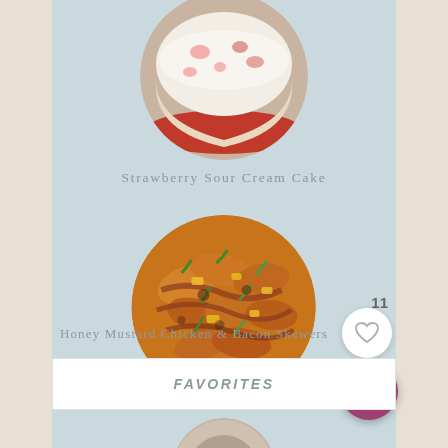[Figure (photo): Circular cropped photo of Strawberry Sour Cream Cake on a red plate, partially visible at top]
Strawberry Sour Cream Cake
[Figure (photo): Circular cropped photo of Honey Mustard Chicken & Bacon Skewers with green onions and cheese]
Honey Mustard Chicken & Bacon Skewers
11
[Figure (other): White circular heart/like button icon]
[Figure (other): Dark pink/mauve circular search button icon]
FAVORITES
[Figure (photo): Partially visible circular photo at bottom of page]